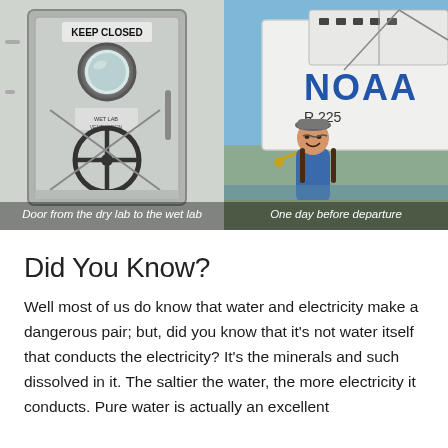[Figure (photo): Two side-by-side photos: left shows a metal ship door labeled 'KEEP CLOSED' with a circular porthole and wheel handle; right shows a smiling woman in a blue shirt and cap standing in front of a NOAA ship (R 225) docked at a pier on a sunny day.]
Door from the dry lab to the wet lab
One day before departure
Did You Know?
Well most of us do know that water and electricity make a dangerous pair; but, did you know that it's not water itself that conducts the electricity? It's the minerals and such dissolved in it. The saltier the water, the more electricity it conducts. Pure water is actually an excellent